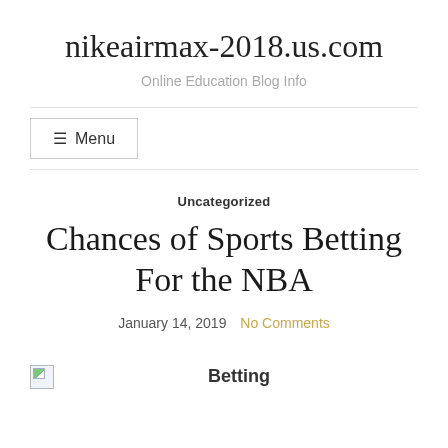nikeairmax-2018.us.com
Online Education Blog Info
☰ Menu
Uncategorized
Chances of Sports Betting For the NBA
January 14, 2019   No Comments
[Figure (photo): Broken image placeholder]
Betting